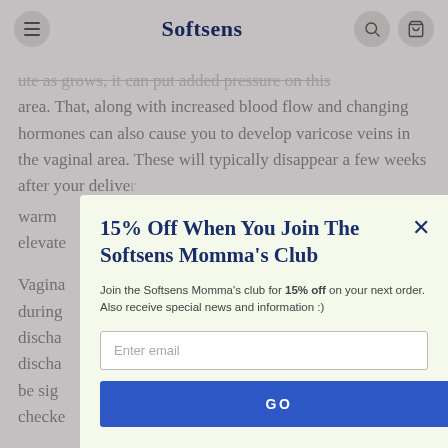Softsens
ute as grows, it can put added pressure on this area. That, along with increased blood flow and changing hormones can also cause you to develop varicose veins in the vaginal area. These will typically disappear a few weeks after your delivery. warm elevate
Vaginal during discha discha be sig checked
Chango
[Figure (screenshot): Modal popup with headline '15% Off When You Join The Softsens Momma's Club', body text, email input field, and GO button]
15% Off When You Join The Softsens Momma's Club
Join the Softsens Momma's club for 15% off on your next order. Also receive special news and information :)